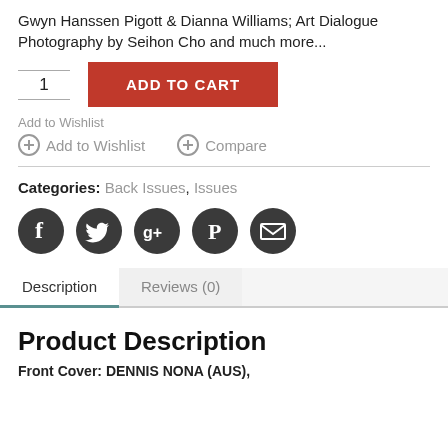Gwyn Hanssen Pigott & Dianna Williams; Art Dialogue Photography by Seihon Cho and much more...
1  ADD TO CART
Add to Wishlist
Add to Wishlist   Compare
Categories: Back Issues, Issues
[Figure (infographic): Social media share icons: Facebook, Twitter, Google+, Pinterest, Email]
Description   Reviews (0)
Product Description
Front Cover: DENNIS NONA (AUS),